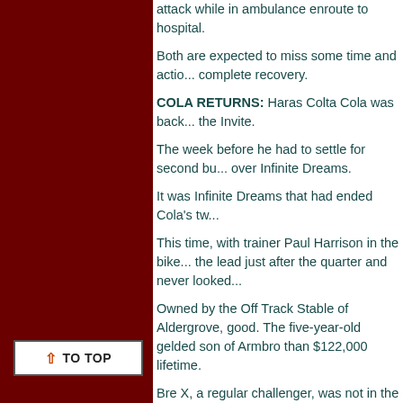attack while in ambulance enroute to hospital.
Both are expected to miss some time and action, but a complete recovery.
COLA RETURNS: Haras Colta Cola was back at the Invite.
The week before he had to settle for second but over Infinite Dreams.
It was Infinite Dreams that had ended Cola's tw...
This time, with trainer Paul Harrison in the bike, the lead just after the quarter and never looked...
Owned by the Off Track Stable of Aldergrove, good. The five-year-old gelded son of Armbro than $122,000 lifetime.
Bre X, a regular challenger, was not in the field grabbed third.
Red Star Justice, who dropped from the Invite held off a fast-closing Spider M to get back in t...
Seely Bert made in five wins in a row by captu... the mile in 1:57.1, a new lifetime mark.
MARINO TOP DRIVER: Leading driver/trainer expected the battle for topping the driver/traine...
Jim Marino, led by a hat-trick on Saturday, had Knight and Jim Burke were next with four apiece.